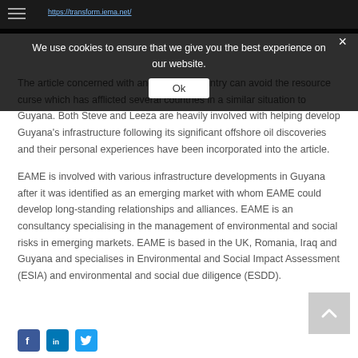transform.iema.net/
We use cookies to ensure that we give you the best experience on our website.
Ok
The article concerned with and how the country can avoid the resource curse which has afflicted several countries in a similar situation to Guyana. Both Steve and Leeza are heavily involved with helping develop Guyana’s infrastructure following its significant offshore oil discoveries and their personal experiences have been incorporated into the article.
EAME is involved with various infrastructure developments in Guyana after it was identified as an emerging market with whom EAME could develop long-standing relationships and alliances. EAME is an consultancy specialising in the management of environmental and social risks in emerging markets. EAME is based in the UK, Romania, Iraq and Guyana and specialises in Environmental and Social Impact Assessment (ESIA) and environmental and social due diligence (ESDD).
[Figure (logo): Social media icons: Facebook (blue f), LinkedIn (blue in), Twitter (blue bird)]